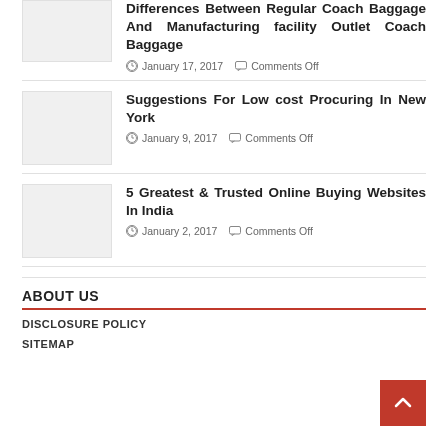[Figure (other): Thumbnail image placeholder (gray box) for first article]
Differences Between Regular Coach Baggage And Manufacturing facility Outlet Coach Baggage
January 17, 2017   Comments Off
[Figure (other): Thumbnail image placeholder (gray box) for second article]
Suggestions For Low cost Procuring In New York
January 9, 2017   Comments Off
[Figure (other): Thumbnail image placeholder (gray box) for third article]
5 Greatest & Trusted Online Buying Websites In India
January 2, 2017   Comments Off
ABOUT US
DISCLOSURE POLICY
SITEMAP